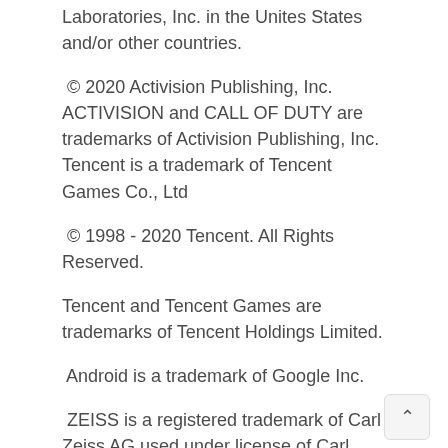Laboratories, Inc. in the Unites States and/or other countries.
© 2020 Activision Publishing, Inc. ACTIVISION and CALL OF DUTY are trademarks of Activision Publishing, Inc. Tencent is a trademark of Tencent Games Co., Ltd
© 1998 - 2020 Tencent. All Rights Reserved.
Tencent and Tencent Games are trademarks of Tencent Holdings Limited.
Android is a trademark of Google Inc.
ZEISS is a registered trademark of Carl Zeiss AG used under license of Carl Zeiss Vision International GmbH